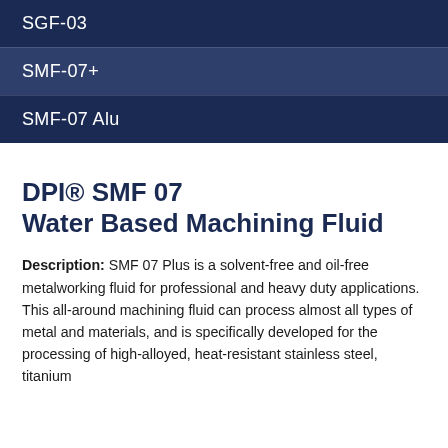SGF-03
SMF-07+
SMF-07 Alu
DPI® SMF 07 Water Based Machining Fluid
Description: SMF 07 Plus is a solvent-free and oil-free metalworking fluid for professional and heavy duty applications. This all-around machining fluid can process almost all types of metal and materials, and is specifically developed for the processing of high-alloyed, heat-resistant stainless steel, titanium